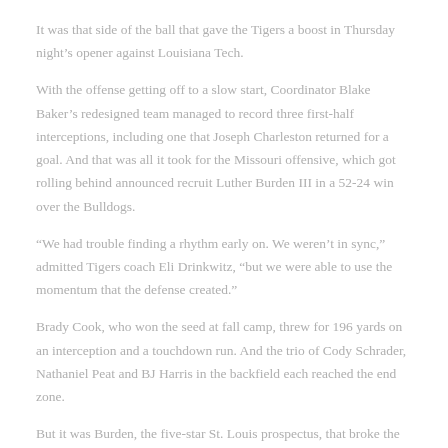It was that side of the ball that gave the Tigers a boost in Thursday night’s opener against Louisiana Tech.
With the offense getting off to a slow start, Coordinator Blake Baker’s redesigned team managed to record three first-half interceptions, including one that Joseph Charleston returned for a goal. And that was all it took for the Missouri offensive, which got rolling behind announced recruit Luther Burden III in a 52-24 win over the Bulldogs.
“We had trouble finding a rhythm early on. We weren’t in sync,” admitted Tigers coach Eli Drinkwitz, “but we were able to use the momentum that the defense created.”
Brady Cook, who won the seed at fall camp, threw for 196 yards on an interception and a touchdown run. And the trio of Cody Schrader, Nathaniel Peat and BJ Harris in the backfield each reached the end zone.
But it was Burden, the five-star St. Louis prospectus, that broke the hype.